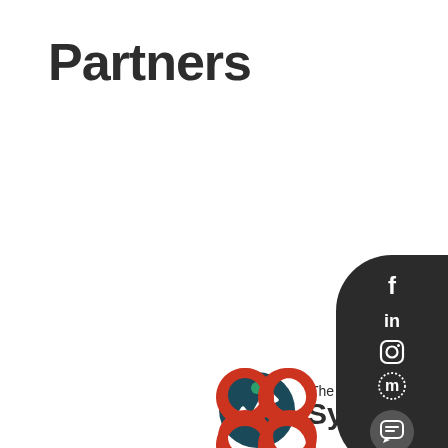Partners
[Figure (logo): The Systematic Trader logo — dark teal circular icon with chart/arrow, text 'The Systematic' in dark and 'Trader' in green]
[Figure (logo): 86Links logo — red figure-eight / 86 symbol with '86LINKS' text below]
[Figure (infographic): Dark rounded sidebar panel with social media icons: Facebook (f), LinkedIn (in), Instagram, Meetup (m), and a chat bubble button at bottom]